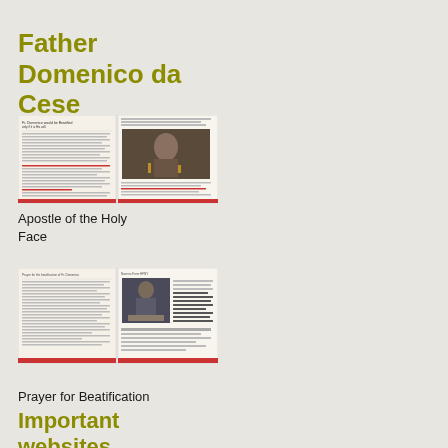Father Domenico da Cese
[Figure (illustration): Two-page booklet spread about Fr. Domenico da Cese - Apostle of the Holy Face; left page has text columns, right page has a photo of a man with candles and text underneath]
Apostle of the Holy Face
[Figure (illustration): Two-page booklet spread about Prayer for Beatification; left page has text columns, right page has a photo of a priest at an altar and handwritten-style text]
Prayer for Beatification
Important websites